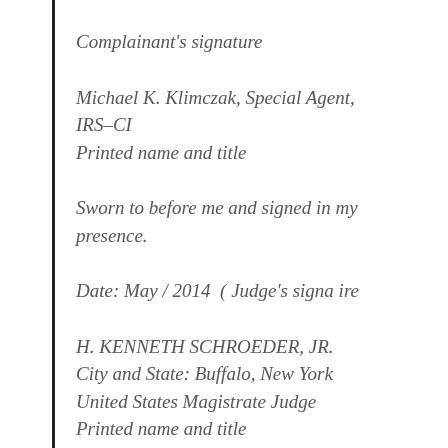Complainant's signature
Michael K. Klimczak, Special Agent, IRS–CI
Printed name and title
Sworn to before me and signed in my presence.
Date: May / 2014 ( Judge's signa ire
H. KENNETH SCHROEDER, JR.
City and State: Buffalo, New York
United States Magistrate Judge
Printed name and title